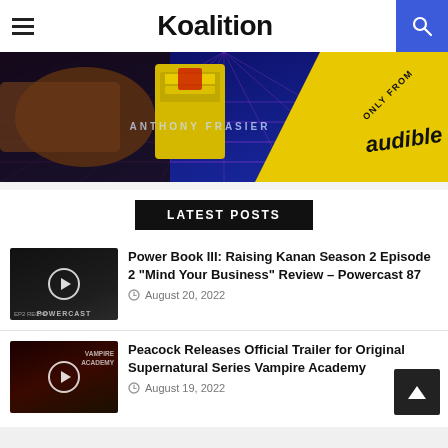Koalition
[Figure (photo): Hero banner image showing a hand, yellow game cartridge, text 'ANTHONY FRASIER', and 'ONLY FROM audible' badge on a blue grid background]
LATEST POSTS
[Figure (screenshot): Thumbnail for Power Book III: Raising Kanan Season 2 Episode 2 Powercast 87, dark background with play button]
Power Book III: Raising Kanan Season 2 Episode 2 “Mind Your Business” Review – Powercast 87
August 20, 2022
[Figure (screenshot): Thumbnail for Vampire Academy trailer video, dark background with play button and 'VAMPIRE ACADEMY' text]
Peacock Releases Official Trailer for Original Supernatural Series Vampire Academy
August 19, 2022